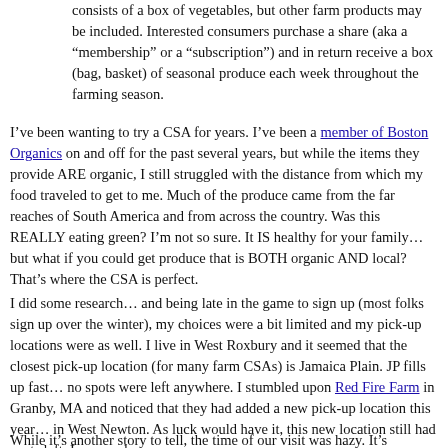consists of a box of vegetables, but other farm products may be included. Interested consumers purchase a share (aka a “membership” or a “subscription”) and in return receive a box (bag, basket) of seasonal produce each week throughout the farming season.
I’ve been wanting to try a CSA for years. I’ve been a member of Boston Organics on and off for the past several years, but while the items they provide ARE organic, I still struggled with the distance from which my food traveled to get to me. Much of the produce came from the far reaches of South America and from across the country. Was this REALLY eating green? I’m not so sure. It IS healthy for your family… but what if you could get produce that is BOTH organic AND local? That’s where the CSA is perfect.
I did some research… and being late in the game to sign up (most folks sign up over the winter), my choices were a bit limited and my pick-up locations were as well. I live in West Roxbury and it seemed that the closest pick-up location (for many farm CSAs) is Jamaica Plain. JP fills up fast… no spots were left anywhere. I stumbled upon Red Fire Farm in Granby, MA and noticed that they had added a new pick-up location this year… in West Newton. As luck would have it, this new location still had spots left. I pounced.
While it’s another story to tell, the time of our visit was hazy. It’s